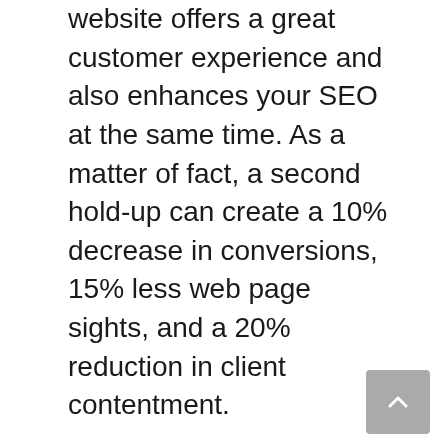website offers a great customer experience and also enhances your SEO at the same time. As a matter of fact, a second hold-up can create a 10% decrease in conversions, 15% less web page sights, and a 20% reduction in client contentment.
Your website's material has a big impact on web page load time. For example, if you have high definition pictures on a page, after that it will significantly increase the general web page lots time. This indicates that rate test outcomes might not properly reflect just how rapid your hosting web server actually is.